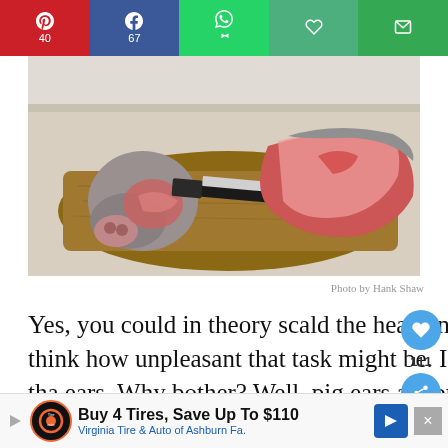[Figure (other): Social share bar with Pinterest (40), Facebook (67), WhatsApp, Heart/Save, and Email buttons]
[Figure (photo): A pig's head being butchered on a wooden cutting board with a knife, raw meat visible]
Photo by Hank Shaw
Yes, you could in theory scald the head and scrape all the hair off, but I shudder to think how unpleasant that task might be. I actually have an inkling, because I did just tha ears. Why bother? Well, pig ears are pretty good
[Figure (infographic): What's Next promo widget: Tacos de Cabeza]
[Figure (infographic): Ad banner: Buy 4 Tires, Save Up To $110 — Virginia Tire & Auto of Ashburn Fa.]